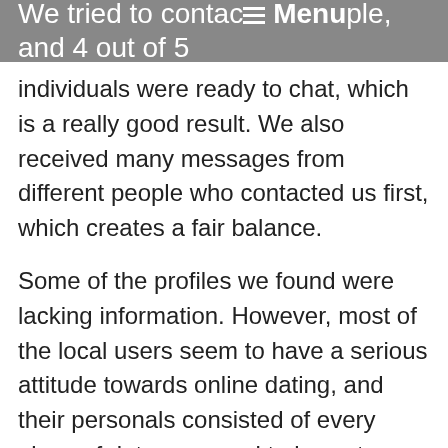We tried to contact five people, and 4 out of 5 ☰ Menu
individuals were ready to chat, which is a really good result. We also received many messages from different people who contacted us first, which creates a fair balance.
Some of the profiles we found were lacking information. However, most of the local users seem to have a serious attitude towards online dating, and their personals consisted of every piece of data you need to know to see whether this person suits you or not. So, in general, AskMe4Date's profile structure looks really